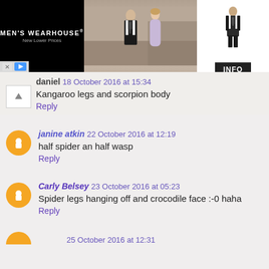[Figure (photo): Men's Wearhouse advertisement banner with couple in formal wear and a man in suit with INFO button]
daniel 18 October 2016 at 15:34
Kangaroo legs and scorpion body
Reply
janine atkin 22 October 2016 at 12:19
half spider an half wasp
Reply
Carly Belsey 23 October 2016 at 05:23
Spider legs hanging off and crocodile face :-0 haha
Reply
25 October 2016 at 12:31 (partial, cut off)